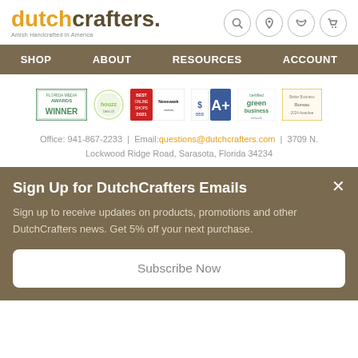dutchcrafters. Amish Handcrafted in America
SHOP  ABOUT  RESOURCES  ACCOUNT
[Figure (logo): Row of award and certification badges: Awards Winner, houzz, Best Online Shops 2021 Newsweek, BBB A+, Green Business, Better Business 2024 Awardee]
Office: 941-867-2233 | Email:questions@dutchcrafters.com | 3709 N. Lockwood Ridge Road, Sarasota, Florida 34234
Sign Up for DutchCrafters Emails
Sign up to receive updates on products, promotions and other DutchCrafters news. Get 5% off your next purchase.
Subscribe Now